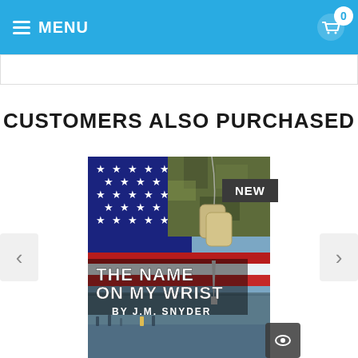MENU
CUSTOMERS ALSO PURCHASED
[Figure (photo): Book cover for 'The Name on My Wrist by J.M. Snyder' showing an American flag, military dog tags on camouflage fabric, and the Washington Monument reflected in the Vietnam Veterans Memorial wall. A 'NEW' badge appears in the upper right corner of the cover.]